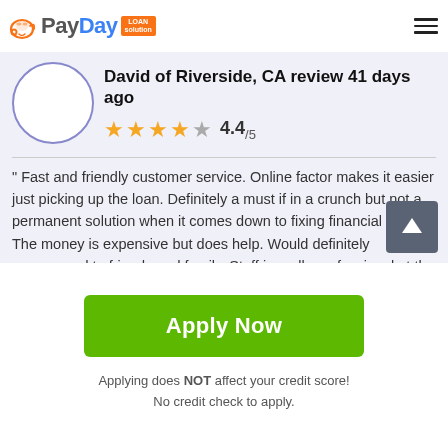PayDay LOAN solution
David of Riverside, CA review 41 days ago
4.4/5 (star rating)
" Fast and friendly customer service. Online factor makes it easier just picking up the loan. Definitely a must if in a crunch but not a permanent solution when it comes down to fixing financial issues. The money is expensive but does help. Would definitely recommend to friends and family. Staff is really professional at the Riverside location. Made the whole experience great."
Apply Now
Applying does NOT affect your credit score!
No credit check to apply.